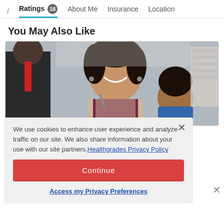/ Ratings 18  About Me  Insurance  Location
You May Also Like
[Figure (photo): A smiling woman with curly hair wearing a vest, with other people around her, in an indoor setting]
We use cookies to enhance user experience and analyze traffic on our site. We also share information about your use with our site partners. Healthgrades Privacy Policy
Continue
Access my Privacy Preferences